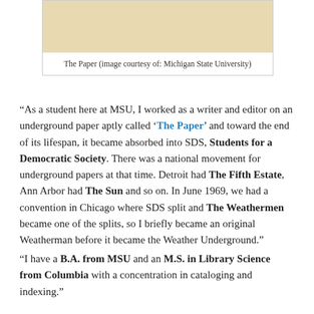[Figure (photo): Partial image of The Paper (an underground newspaper), shown with a beige/tan background. Image courtesy of Michigan State University.]
The Paper (image courtesy of: Michigan State University)
“As a student here at MSU, I worked as a writer and editor on an underground paper aptly called ‘The Paper’ and toward the end of its lifespan, it became absorbed into SDS, Students for a Democratic Society. There was a national movement for underground papers at that time. Detroit had The Fifth Estate, Ann Arbor had The Sun and so on. In June 1969, we had a convention in Chicago where SDS split and The Weathermen became one of the splits, so I briefly became an original Weatherman before it became the Weather Underground.”
“I have a B.A. from MSU and an M.S. in Library Science from Columbia with a concentration in cataloging and indexing.”